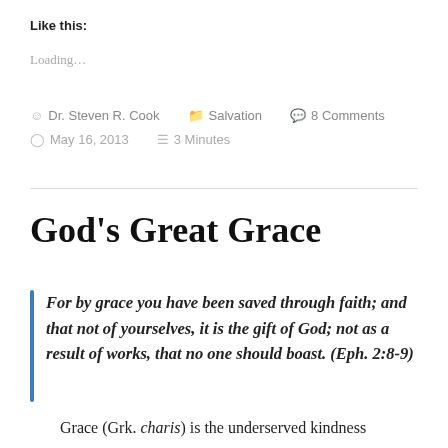Like this:
Loading…
Dr. Steven R. Cook   Salvation   8 Comments   May 16, 2013   3 Minutes
God's Great Grace
For by grace you have been saved through faith; and that not of yourselves, it is the gift of God; not as a result of works, that no one should boast. (Eph. 2:8-9)
Grace (Grk. charis) is the underserved kindness